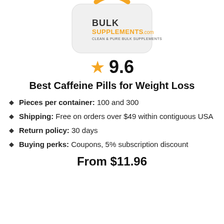[Figure (photo): BulkSupplements.com product bag with orange logo, partially cropped at top]
9.6
Best Caffeine Pills for Weight Loss
Pieces per container: 100 and 300
Shipping: Free on orders over $49 within contiguous USA
Return policy: 30 days
Buying perks: Coupons, 5% subscription discount
From $11.96